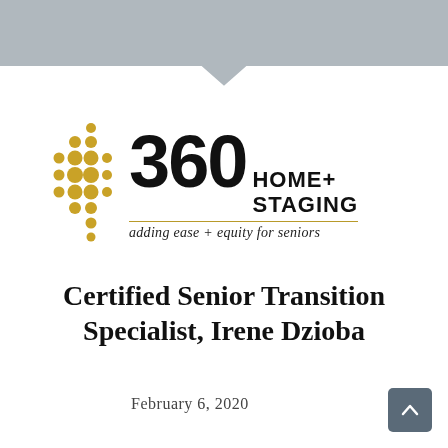[Figure (illustration): Gray decorative banner at top with downward-pointing chevron/curtain shape]
[Figure (logo): 360 Home+ Staging logo with gold dot grid on left, large '360' numeral, 'HOME+ STAGING' text, gold divider line, and italic tagline 'adding ease + equity for seniors']
Certified Senior Transition Specialist, Irene Dzioba
February 6, 2020